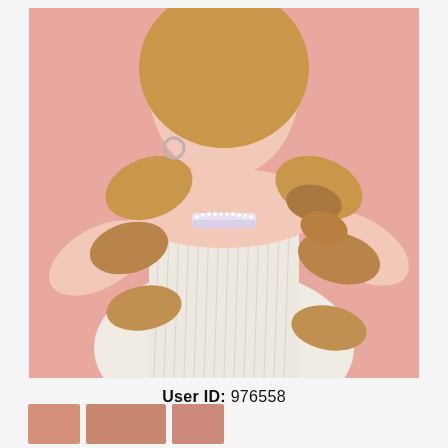[Figure (photo): Fashion photo of a young woman with long wavy strawberry blonde hair styled in a side braid, wearing a white ribbed spaghetti-strap top and a pearl/rhinestone choker necklace, with silver hoop earrings, posed against a pink background with her arms raised behind her head.]
User ID: 976558
[Figure (photo): Row of small thumbnail photos at the bottom of the page.]